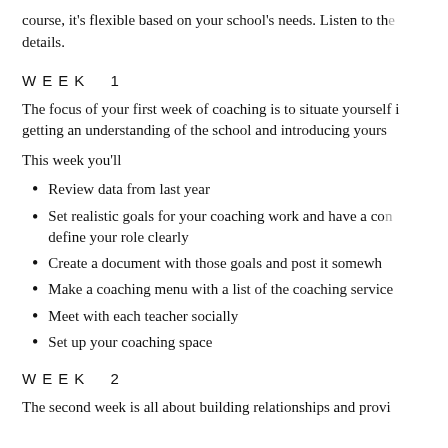course, it's flexible based on your school's needs. Listen to the details.
WEEK  1
The focus of your first week of coaching is to situate yourself in getting an understanding of the school and introducing yours...
This week you'll
Review data from last year
Set realistic goals for your coaching work and have a con... define your role clearly
Create a document with those goals and post it somewh...
Make a coaching menu with a list of the coaching service...
Meet with each teacher socially
Set up your coaching space
WEEK  2
The second week is all about building relationships and provi...